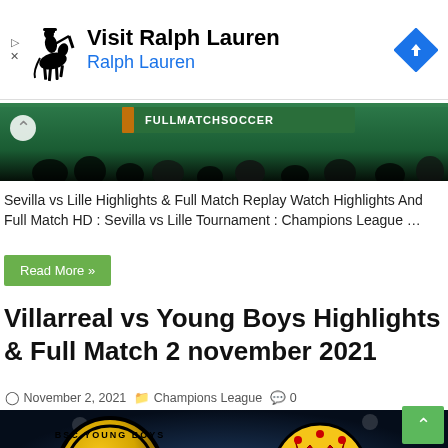[Figure (other): Ralph Lauren advertisement banner with polo player logo, 'Visit Ralph Lauren' text, blue 'Ralph Lauren' subtext, and a blue diamond navigation arrow icon]
[Figure (photo): Football/soccer stadium press area with green FULLMATCHSOCCER logo banner, people in silhouette]
Sevilla vs Lille Highlights & Full Match Replay Watch Highlights And Full Match HD : Sevilla vs Lille Tournament : Champions League …
Read More »
Villarreal vs Young Boys Highlights & Full Match 2 november 2021
November 2, 2021   Champions League   0
[Figure (photo): BSC Young Boys and Villarreal football club logos side by side on a dark stadium background]